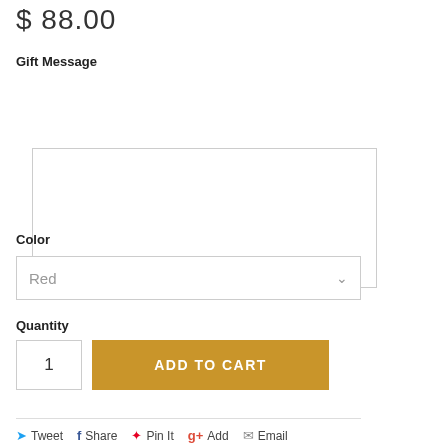$ 88.00
Gift Message
Color
Red
Quantity
1
ADD TO CART
Tweet  Share  Pin It  Add  Email